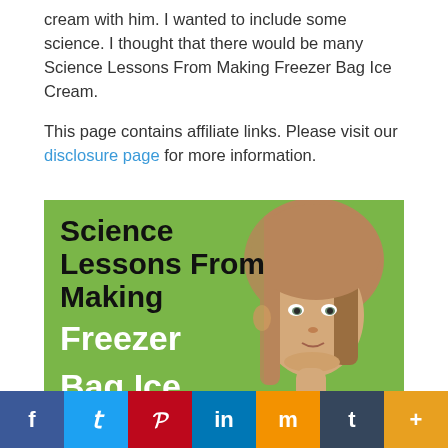cream with him. I wanted to include some science. I thought that there would be many Science Lessons From Making Freezer Bag Ice Cream.
This page contains affiliate links. Please visit our disclosure page for more information.
[Figure (illustration): Promotional image with green background showing a young girl and bold text reading 'Science Lessons From Making Freezer Bag Ice' in black and white fonts.]
f  t  P  in  m  t  +